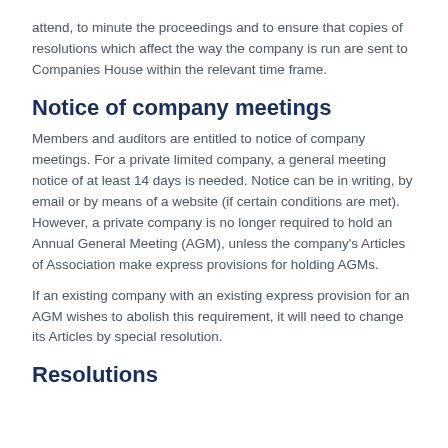attend, to minute the proceedings and to ensure that copies of resolutions which affect the way the company is run are sent to Companies House within the relevant time frame.
Notice of company meetings
Members and auditors are entitled to notice of company meetings. For a private limited company, a general meeting notice of at least 14 days is needed. Notice can be in writing, by email or by means of a website (if certain conditions are met). However, a private company is no longer required to hold an Annual General Meeting (AGM), unless the company's Articles of Association make express provisions for holding AGMs.
If an existing company with an existing express provision for an AGM wishes to abolish this requirement, it will need to change its Articles by special resolution.
Resolutions